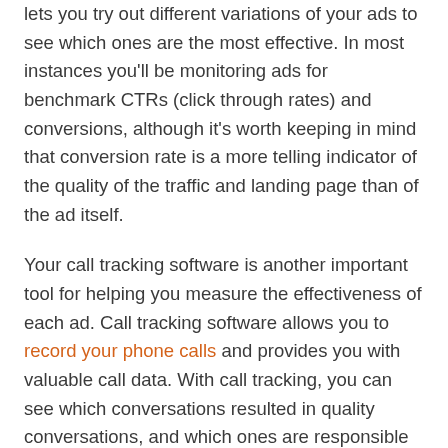lets you try out different variations of your ads to see which ones are the most effective. In most instances you'll be monitoring ads for benchmark CTRs (click through rates) and conversions, although it's worth keeping in mind that conversion rate is a more telling indicator of the quality of the traffic and landing page than of the ad itself.
Your call tracking software is another important tool for helping you measure the effectiveness of each ad. Call tracking software allows you to record your phone calls and provides you with valuable call data. With call tracking, you can see which conversations resulted in quality conversations, and which ones are responsible for bringing in the most revenue.
Call tracking also help you uncover similarities and commonalities between these calls, to inform your future campaigns. For example, how long are the calls? How did